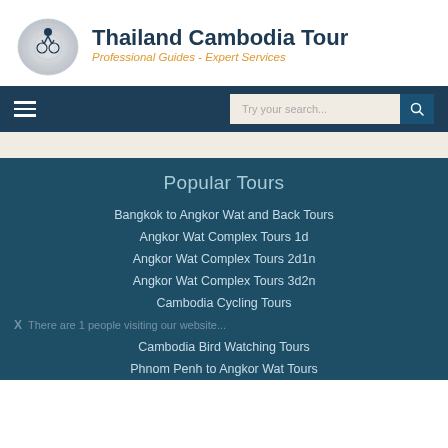[Figure (logo): Circular logo with cyclist on globe, Thailand Cambodia Tour branding]
Thailand Cambodia Tour
Professional Guides - Expert Services
[Figure (other): Navigation bar with hamburger menu and search input]
Popular Tours
Bangkok to Angkor Wat and Back Tours
Angkor Wat Complex Tours 1d
Angkor Wat Complex Tours 2d1n
Angkor Wat Complex Tours 3d2n
Cambodia Cycling Tours
X   There are 1 people visiting our website...
Cambodia Bird Watching Tours
Phnom Penh to Angkor Wat Tours